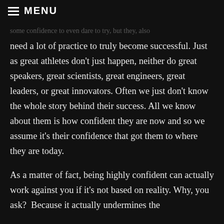≡ MENU
some confidence to even dare to try, but they also need a lot of practice to truly become successful. Just as great athletes don't just happen, neither do great speakers, great scientists, great engineers, great leaders, or great innovators. Often we just don't know the whole story behind their success. All we know about them is how confident they are now and so we assume it's their confidence that got them to where they are today.
As a matter of fact, being highly confident can actually work against you if it's not based on reality. Why, you ask?  Because it actually undermines the